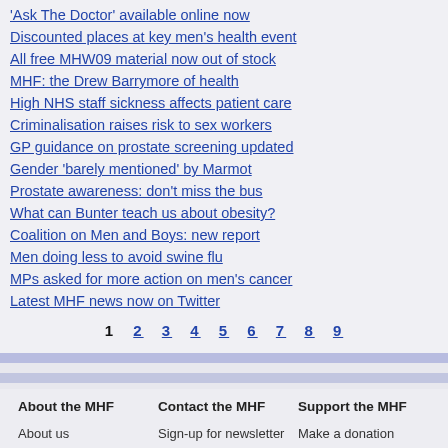'Ask The Doctor' available online now
Discounted places at key men's health event
All free MHW09 material now out of stock
MHF: the Drew Barrymore of health
High NHS staff sickness affects patient care
Criminalisation raises risk to sex workers
GP guidance on prostate screening updated
Gender 'barely mentioned' by Marmot
Prostate awareness: don't miss the bus
What can Bunter teach us about obesity?
Coalition on Men and Boys: new report
Men doing less to avoid swine flu
MPs asked for more action on men's cancer
Latest MHF news now on Twitter
1  2  3  4  5  6  7  8  9
About the MHF | Contact the MHF | Support the MHF | About us | Ethical Policy | Dept. Health Info. Standard | Why do we need the MHF? | Disclaimer, comments policy, privacy and copyright | Sign-up for newsletter | Contact us | Media enquiries | Make a donation | Support Us for free